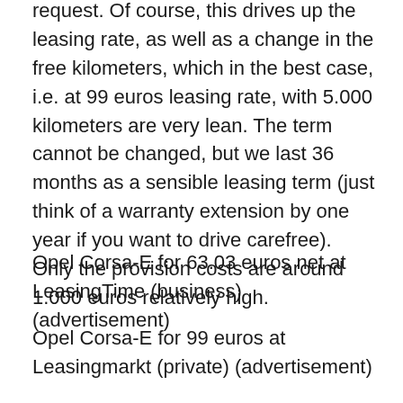request. Of course, this drives up the leasing rate, as well as a change in the free kilometers, which in the best case, i.e. at 99 euros leasing rate, with 5.000 kilometers are very lean. The term cannot be changed, but we last 36 months as a sensible leasing term (just think of a warranty extension by one year if you want to drive carefree). Only the provision costs are around 1.000 euros relatively high.
Opel Corsa-E for 63.03 euros net at LeasingTime (business) (advertisement)
Opel Corsa-E for 99 euros at Leasingmarkt (private) (advertisement)